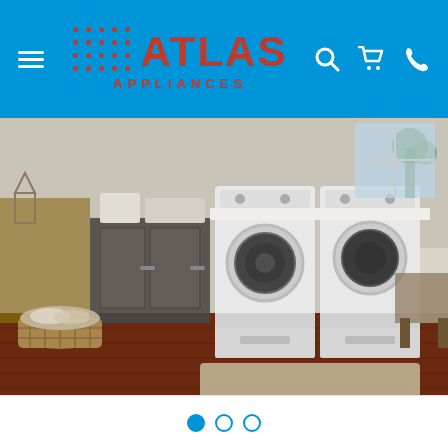Atlas Appliances — navigation header with menu, logo, search, cart, and phone icons
[Figure (photo): Laundry room scene showing two white front-loading washer and dryer units on pedestals, with dark wood cabinetry, hardwood flooring, a woven rug, a wicker laundry basket, and a desk area in the background with a chair.]
[Figure (other): Slideshow navigation dots: three dots, first filled (active/blue), second and third hollow (inactive).]